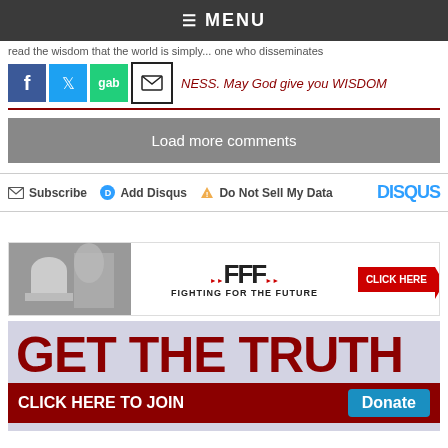≡ MENU
read the wisdom that the world is simply... one who disseminates
[Figure (screenshot): Social share buttons: Facebook (blue), Twitter (light blue), Gab (green), Email (envelope)]
NESS. May God give you WISDOM
Load more comments
Subscribe  Add Disqus  Do Not Sell My Data  DISQUS
[Figure (advertisement): Fighting For The Future (FFF) ad with Capitol building image and CLICK HERE button]
[Figure (advertisement): GET THE TRUTH ad in dark red text with CLICK HERE TO JOIN and Donate button]